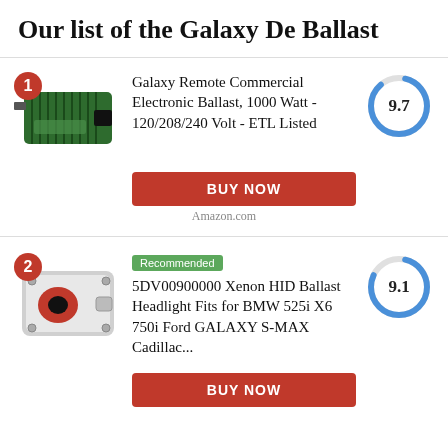Our list of the Galaxy De Ballast
[Figure (photo): Green electronic ballast device - Galaxy Remote Commercial Electronic Ballast]
Galaxy Remote Commercial Electronic Ballast, 1000 Watt - 120/208/240 Volt - ETL Listed
[Figure (donut-chart): Score gauge showing 9.7]
BUY NOW
Amazon.com
[Figure (photo): Silver/black xenon HID ballast headlight module]
Recommended
5DV00900000 Xenon HID Ballast Headlight Fits for BMW 525i X6 750i Ford GALAXY S-MAX Cadillac...
[Figure (donut-chart): Score gauge showing 9.1]
BUY NOW